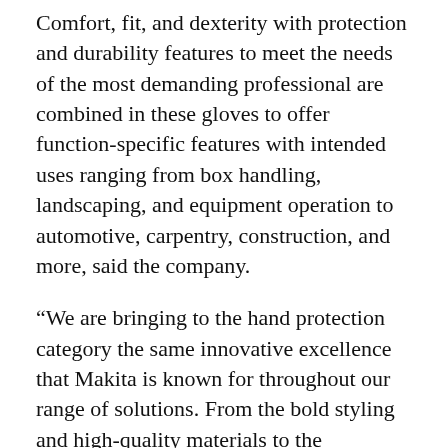Comfort, fit, and dexterity with protection and durability features to meet the needs of the most demanding professional are combined in these gloves to offer function-specific features with intended uses ranging from box handling, landscaping, and equipment operation to automotive, carpentry, construction, and more, said the company.
“We are bringing to the hand protection category the same innovative excellence that Makita is known for throughout our range of solutions. From the bold styling and high-quality materials to the productive performance demonstrated by our ANSI/ISEA 105 standard ratings, we couldn’t be more pleased in what we’ve created and are very excited to see users slip their hands in these,” said Camp.
Glove packaging clearly communicates top features as well as ANSI and ISEA standard ratings where applicable.